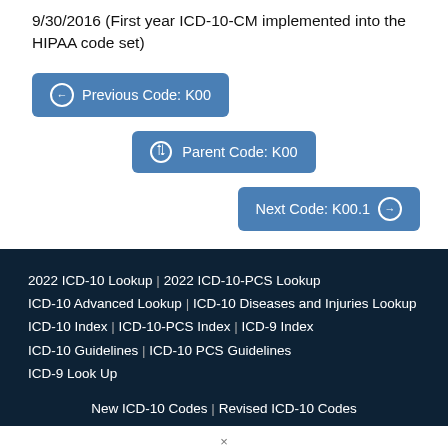9/30/2016 (First year ICD-10-CM implemented into the HIPAA code set)
Previous Code: K00
Parent Code: K00
Next Code: K00.1
2022 ICD-10 Lookup | 2022 ICD-10-PCS Lookup | ICD-10 Advanced Lookup | ICD-10 Diseases and Injuries Lookup | ICD-10 Index | ICD-10-PCS Index | ICD-9 Index | ICD-10 Guidelines | ICD-10 PCS Guidelines | ICD-9 Look Up
New ICD-10 Codes | Revised ICD-10 Codes